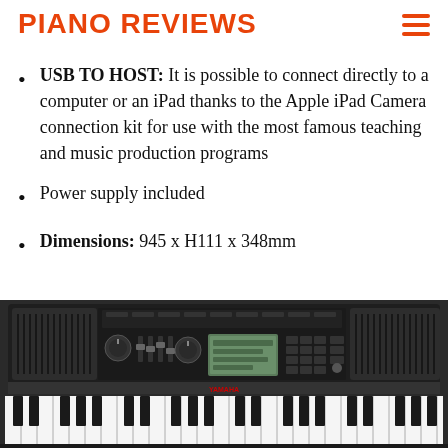PIANO REVIEWS
USB TO HOST: It is possible to connect directly to a computer or an iPad thanks to the Apple iPad Camera connection kit for use with the most famous teaching and music production programs
Power supply included
Dimensions: 945 x H111 x 348mm
[Figure (photo): Yamaha keyboard piano product photo showing control panel with buttons, LCD display, speakers, and piano keys at the bottom]